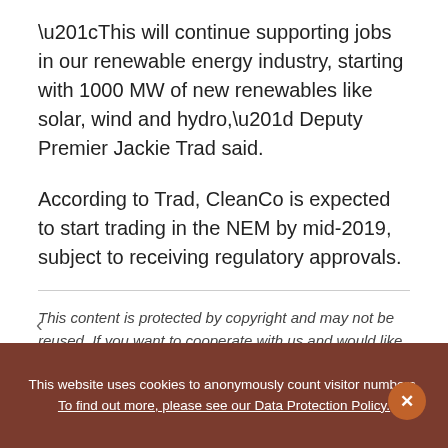“This will continue supporting jobs in our renewable energy industry, starting with 1000 MW of new renewables like solar, wind and hydro,” Deputy Premier Jackie Trad said.
According to Trad, CleanCo is expected to start trading in the NEM by mid-2019, subject to receiving regulatory approvals.
This content is protected by copyright and may not be reused. If you want to cooperate with us and would like to reuse some of our content, please contact: editors@pv-magazine.com.
This website uses cookies to anonymously count visitor numbers. To find out more, please see our Data Protection Policy.